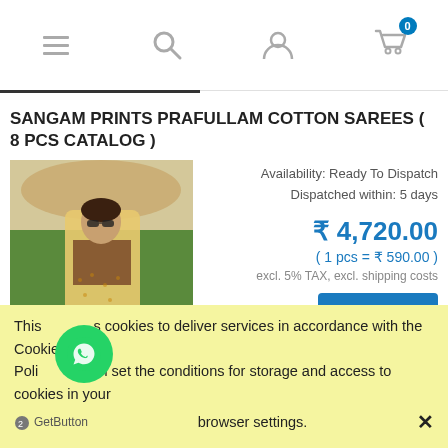Navigation header with menu, search, user, and cart (0 items) icons
SANGAM PRINTS PRAFULLAM COTTON SAREES ( 8 PCS CATALOG )
[Figure (photo): Woman wearing a yellow/golden cotton saree with border, standing outdoors with greenery background]
Availability: Ready To Dispatch
Dispatched within: 5 days
₹ 4,720.00
( 1 pcs = ₹ 590.00 )
excl. 5% TAX, excl. shipping costs
This site uses cookies to deliver services in accordance with the Cookie Files Policy. You can set the conditions for storage and access to cookies in your browser settings.